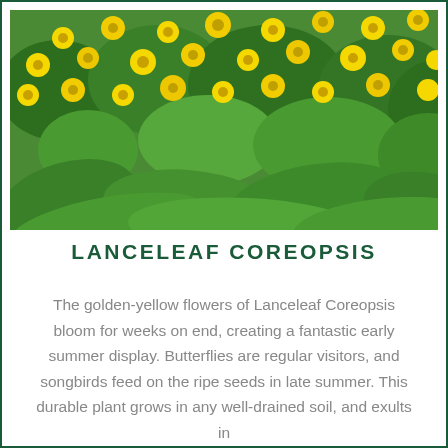[Figure (photo): Field of golden-yellow Lanceleaf Coreopsis flowers blooming among green foliage and large leaves]
LANCELEAF COREOPSIS
The golden-yellow flowers of Lanceleaf Coreopsis bloom for weeks on end, creating a fantastic early summer display. Butterflies are regular visitors, and songbirds feed on the ripe seeds in late summer. This durable plant grows in any well-drained soil, and exults in